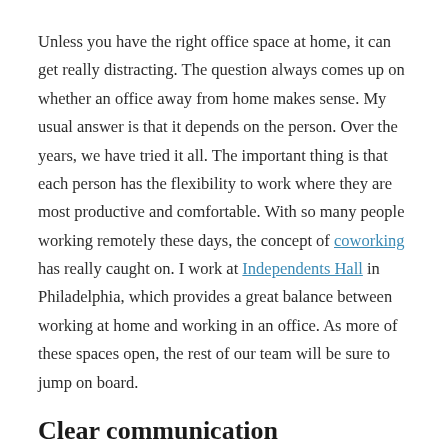Unless you have the right office space at home, it can get really distracting. The question always comes up on whether an office away from home makes sense. My usual answer is that it depends on the person. Over the years, we have tried it all. The important thing is that each person has the flexibility to work where they are most productive and comfortable. With so many people working remotely these days, the concept of coworking has really caught on. I work at Independents Hall in Philadelphia, which provides a great balance between working at home and working in an office. As more of these spaces open, the rest of our team will be sure to jump on board.
Clear communication
With the right people and the right process, a solid communication process brings it all together. While there are